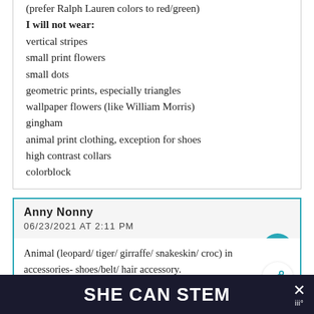(prefer Ralph Lauren colors to red/green)
I will not wear:
vertical stripes
small print flowers
small dots
geometric prints, especially triangles
wallpaper flowers (like William Morris)
gingham
animal print clothing, exception for shoes
high contrast collars
colorblock
Anny Nonny
06/23/2021 AT 2:11 PM
Animal (leopard/ tiger/ girraffe/ snakeskin/ croc) in accessories- shoes/belt/ hair accessory.
Modern florals (so blobby florals, like Marimekko,
SHE CAN STEM